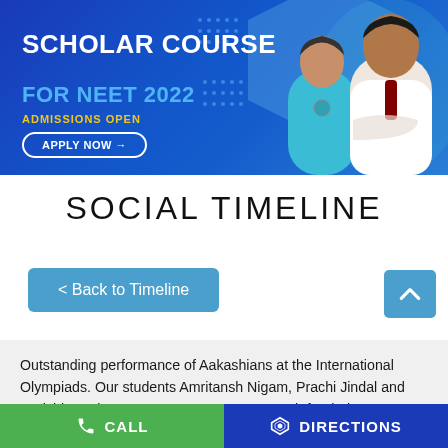[Figure (infographic): Scholar Course for NEET 2022 admission banner with blue background, two medical students/doctors, hexagon design elements, Apply Now button]
SOCIAL TIMELINE
< Back to Timeline
Outstanding performance of Aakashians at the International Olympiads. Our students Amritansh Nigam, Prachi Jindal and Tanishka Kabra won a SILVER MEDAL each for their remarkable performance in IBO and IChO
CALL   DIRECTIONS